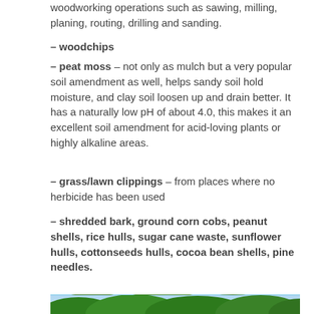woodworking operations such as sawing, milling, planing, routing, drilling and sanding.
– woodchips
– peat moss – not only as mulch but a very popular soil amendment as well, helps sandy soil hold moisture, and clay soil loosen up and drain better. It has a naturally low pH of about 4.0, this makes it an excellent soil amendment for acid-loving plants or highly alkaline areas.
– grass/lawn clippings – from places where no herbicide has been used
– shredded bark, ground corn cobs, peanut shells, rice hulls, sugar cane waste, sunflower hulls, cottonseeds hulls, cocoa bean shells, pine needles.
[Figure (photo): Photo of dense green tree canopy against a light blue sky]